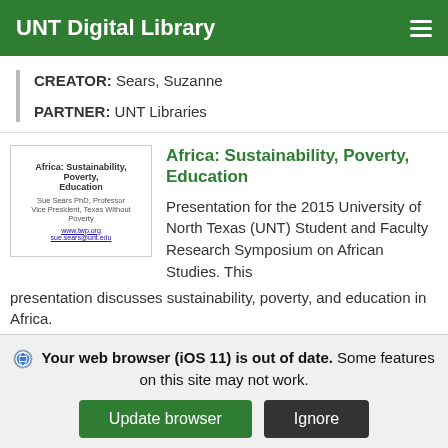UNT Digital Library
CREATOR: Sears, Suzanne
PARTNER: UNT Libraries
[Figure (screenshot): Thumbnail of presentation slide titled 'Africa: Sustainability, Poverty, Education' with author info and links]
Africa: Sustainability, Poverty, Education
Presentation for the 2015 University of North Texas (UNT) Student and Faculty Research Symposium on African Studies. This presentation discusses sustainability, poverty, and education in Africa.
Your web browser (iOS 11) is out of date. Some features on this site may not work.